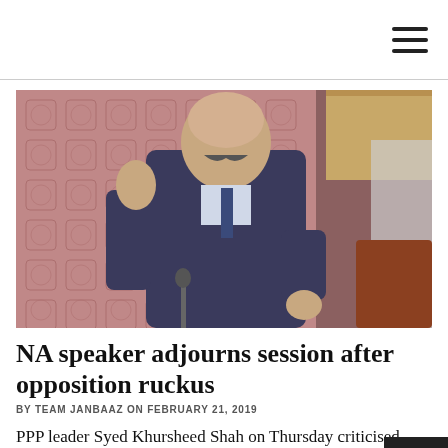hamburger menu icon
[Figure (photo): A man in a dark suit with a blue tie speaking in what appears to be a parliamentary assembly hall. He is gesturing with his hands. The background shows red patterned walls and wooden furniture.]
NA speaker adjourns session after opposition ruckus
BY TEAM JANBAAZ ON FEBRUARY 21, 2019
PPP leader Syed Khursheed Shah on Thursday criticised yesterday's arrest of Sindh Assembly Speaker Agha